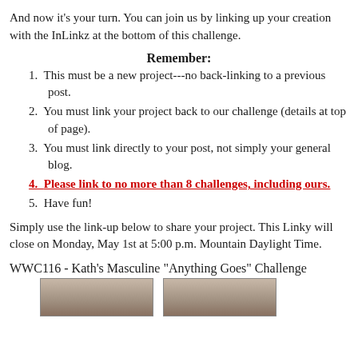And now it's your turn.  You can join us by linking up your creation with the InLinkz at the bottom of this challenge.
Remember:
1.  This must be a new project---no back-linking to a previous post.
2.  You must link your project back to our challenge (details at top of page).
3.  You must link directly to your post, not simply your general blog.
4.  Please link to no more than 8 challenges, including ours.
5.  Have fun!
Simply use the link-up below to share your project.  This Linky will close on Monday, May 1st at 5:00 p.m. Mountain Daylight Time.
WWC116 - Kath's Masculine "Anything Goes" Challenge
[Figure (photo): Two thumbnail images side by side, partially visible at bottom of page]